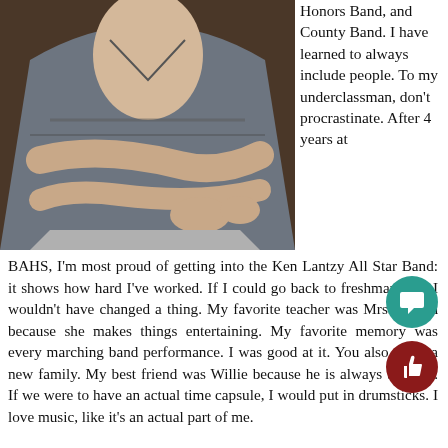[Figure (photo): A young woman in a grey top sitting with arms crossed, photographed from the torso up against a dark brown background.]
Honors Band, and County Band. I have learned to always include people. To my underclassman, don't procrastinate. After 4 years at BAHS, I'm most proud of getting into the Ken Lantzy All Star Band: it shows how hard I've worked. If I could go back to freshman year I wouldn't have changed a thing. My favorite teacher was Mrs.Flarend because she makes things entertaining. My favorite memory was every marching band performance. I was good at it. You also make a new family. My best friend was Willie because he is always there for me. If we were to have an actual time capsule, I would put in drumsticks. I love music, like it's an actual part of me.